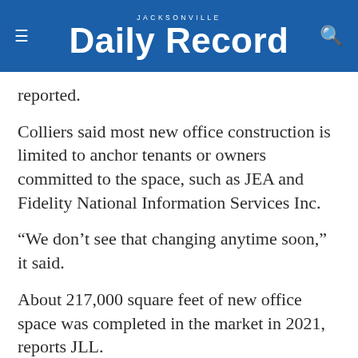JACKSONVILLE Daily Record
reported.
Colliers said most new office construction is limited to anchor tenants or owners committed to the space, such as JEA and Fidelity National Information Services Inc.
“We don’t see that changing anytime soon,” it said.
About 217,000 square feet of new office space was completed in the market in 2021, reports JLL.
JLL said the Dennis + Ives conversion in the Rail Yard District near Downtown was the first new